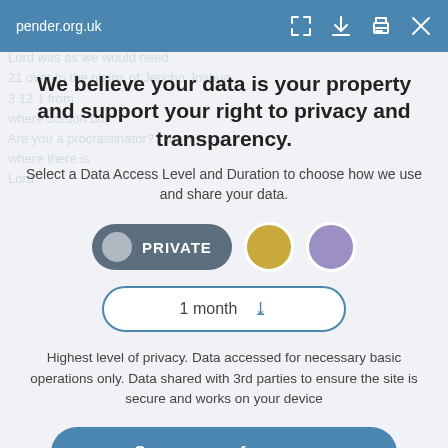pender.org.uk
We believe your data is your property and support your right to privacy and transparency.
Select a Data Access Level and Duration to choose how we use and share your data.
[Figure (infographic): Privacy level selector showing three options: PRIVATE (selected, dark grey pill with grey circle), a gold circle option, and a purple circle option. Below is a dropdown showing '1 month' with a chevron.]
Highest level of privacy. Data accessed for necessary basic operations only. Data shared with 3rd parties to ensure the site is secure and works on your device
Save my preferences